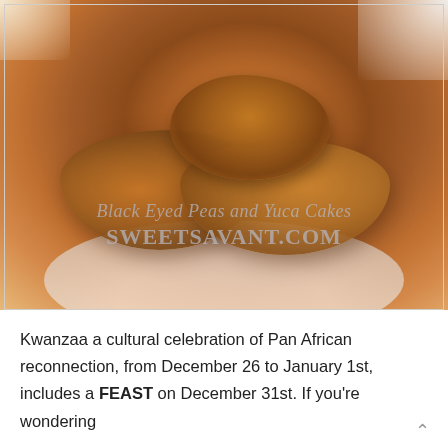[Figure (photo): Close-up photo of golden-brown Black Eyed Peas and Yuca Cakes stacked on a white plate on a wooden table, with watermark text 'Black Eyed Peas and Yuca Cakes' and 'SWEETSAVANT.COM' overlaid on the lower portion of the image.]
Kwanzaa a cultural celebration of Pan African reconnection, from December 26 to January 1st, includes a FEAST on December 31st. If you're wondering